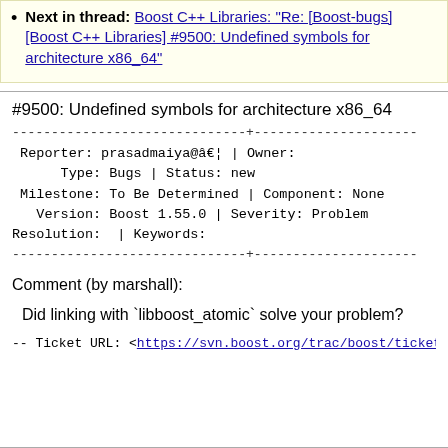Next in thread: Boost C++ Libraries: "Re: [Boost-bugs] [Boost C++ Libraries] #9500: Undefined symbols for architecture x86_64"
#9500: Undefined symbols for architecture x86_64
Reporter: prasadmaiya@â€¦ | Owner:
      Type: Bugs | Status: new
 Milestone: To Be Determined | Component: None
   Version: Boost 1.55.0 | Severity: Problem
Resolution:  | Keywords:
Comment (by marshall):
Did linking with `libboost_atomic` solve your problem?
--
Ticket URL: <https://svn.boost.org/trac/boost/ticket/9500
Boost C++ Libraries <http://www.boost.org/>
Boost provides free peer-reviewed portable C++ source lib